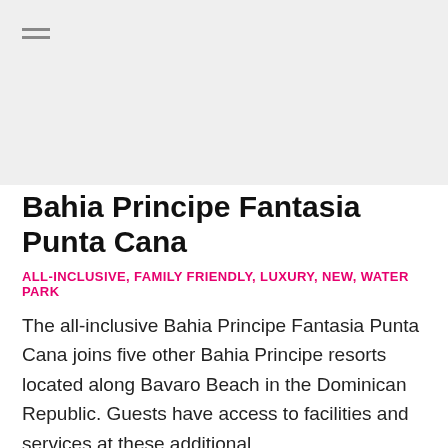[Figure (photo): Large image placeholder area at top of page (light gray background), with a hamburger menu icon in the top-left corner.]
Bahia Principe Fantasia Punta Cana
ALL-INCLUSIVE, FAMILY FRIENDLY, LUXURY, NEW, WATER PARK
The all-inclusive Bahia Principe Fantasia Punta Cana joins five other Bahia Principe resorts located along Bavaro Beach in the Dominican Republic. Guests have access to facilities and services at these additional